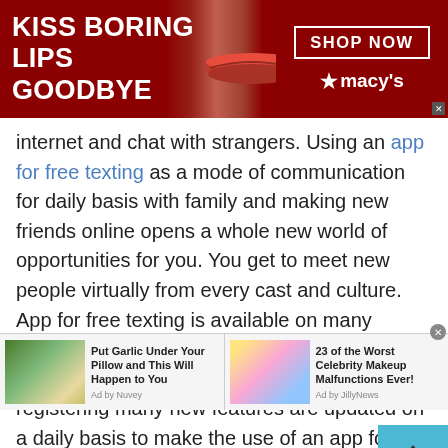[Figure (screenshot): Macy's banner advertisement with red background, woman's face with red lips, text 'KISS BORING LIPS GOODBYE', 'SHOP NOW' button and Macy's logo]
internet and chat with strangers. Using an app for free texting as a mode of communication for daily basis with family and making new friends online opens a whole new world of opportunities for you. You get to meet new people virtually from every cast and culture. App for free texting is available on many platforms and can be easily downloaded without the restrictions of showing identity or registering many new features are updated on a daily basis to make the use of an app for free texting interesting.
[Figure (screenshot): Bottom advertisement bar with two ads: 'Put Garlic Under Your Pillow and This Will Happen to You' (Ad by Nuvey) and '23 of the Worst Celebrity Makeup Malfunctions Ever!' (Ad by JillyNews)]